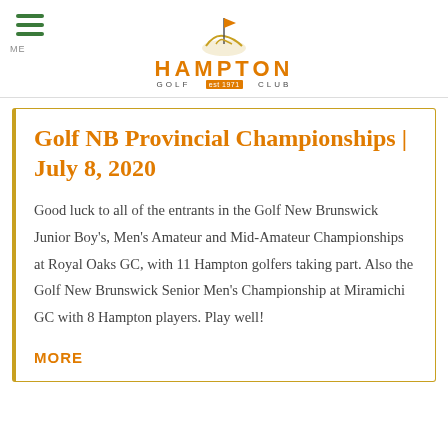HAMPTON GOLF est 1971 CLUB
Golf NB Provincial Championships | July 8, 2020
Good luck to all of the entrants in the Golf New Brunswick Junior Boy's, Men's Amateur and Mid-Amateur Championships at Royal Oaks GC, with 11 Hampton golfers taking part. Also the Golf New Brunswick Senior Men's Championship at Miramichi GC with 8 Hampton players. Play well!
MORE